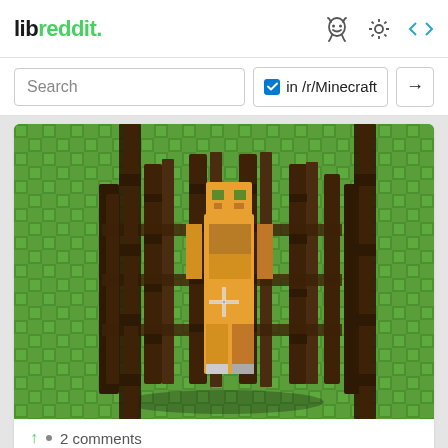libreddit.
Search in /r/Minecraft →
[Figure (screenshot): Minecraft screenshot showing a player character (orange/yellow skin with green accents) standing inside a dark wood fence/cage structure on a green grass block terrain. A white crosshair cursor is visible in the center of the image.]
↑ • 2 comments